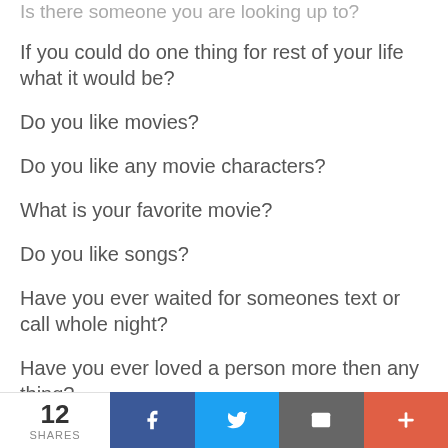Is there someone you are looking up to?
If you could do one thing for rest of your life what it would be?
Do you like movies?
Do you like any movie characters?
What is your favorite movie?
Do you like songs?
Have you ever waited for someones text or call whole night?
Have you ever loved a person more then any thing?
12 SHARES | Facebook | Twitter | Email | More